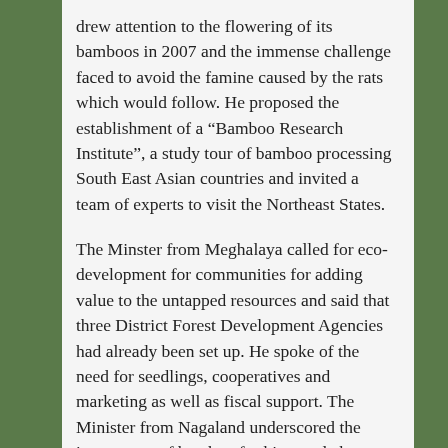drew attention to the flowering of its bamboos in 2007 and the immense challenge faced to avoid the famine caused by the rats which would follow. He proposed the establishment of a “Bamboo Research Institute”, a study tour of bamboo processing South East Asian countries and invited a team of experts to visit the Northeast States.
The Minster from Meghalaya called for eco-development for communities for adding value to the untapped resources and said that three District Forest Development Agencies had already been set up. He spoke of the need for seedlings, cooperatives and marketing as well as fiscal support. The Minister from Nagaland underscored the importance of bamboo for his people by saying that “Nagas eat bamboo from root to leaf”. Bamboo was used in virtually every aspect of life but technical and financial support was essential for